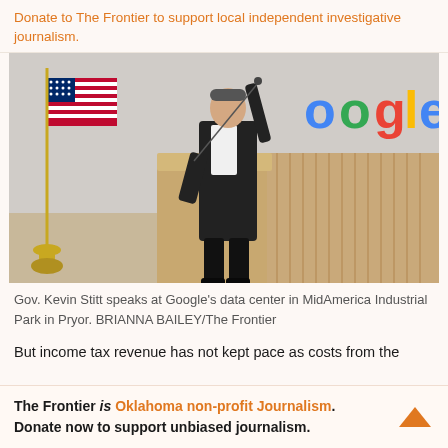Donate to The Frontier to support local independent investigative journalism.
[Figure (photo): Gov. Kevin Stitt speaks at a podium at Google's data center in MidAmerica Industrial Park in Pryor, with an American flag to his left and a partial Google logo visible on the wall behind him.]
Gov. Kevin Stitt speaks at Google's data center in MidAmerica Industrial Park in Pryor. BRIANNA BAILEY/The Frontier
But income tax revenue has not kept pace as costs from the
The Frontier is Oklahoma non-profit Journalism. Donate now to support unbiased journalism.